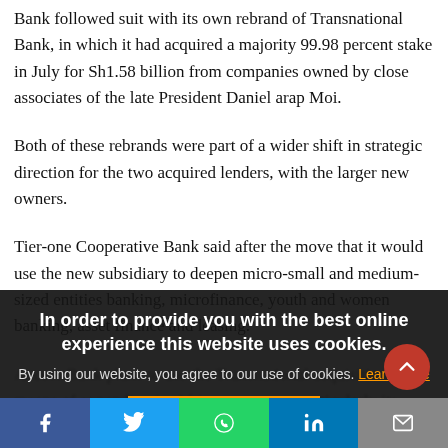Bank followed suit with its own rebrand of Transnational Bank, in which it had acquired a majority 99.98 percent stake in July for Sh1.58 billion from companies owned by close associates of the late President Daniel arap Moi.
Both of these rebrands were part of a wider shift in strategic direction for the two acquired lenders, with the larger new owners.
Tier-one Cooperative Bank said after the move that it would use the new subsidiary to deepen micro-small and medium-sized entities banking, microfinance, youth and women banking, asset finance and leasing.
Access Bank plans to use the Transnational acquisition as a means of expanding its African presence, particularly its payment platform footprint in the African con...
In order to provide you with the best online experience this website uses cookies.
By using our website, you agree to our use of cookies. Learn more
I AGREE